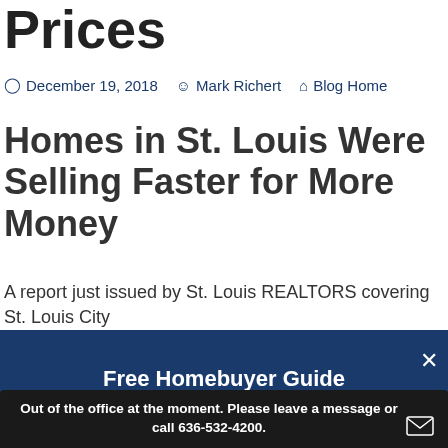Prices
December 19, 2018  Mark Richert  Blog Home
Homes in St. Louis Were Selling Faster for More Money
A report just issued by St. Louis REALTORS covering St. Louis City and County combined shows the following when comparing
Free Homebuyer Guide (Registration Not Required)
READ ONLINE OR DOWNLOAD YOUR COPY
Out of the office at the moment. Please leave a message or call 636-532-4200.